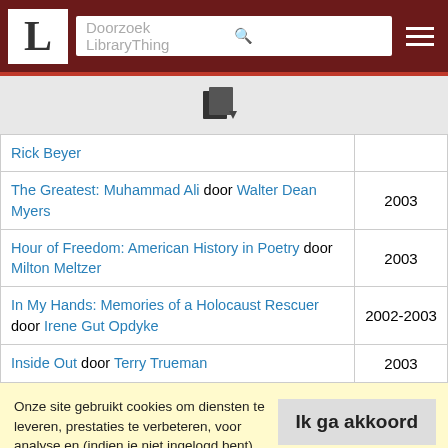Doorzoek LibraryThing
| Boek | Jaar |
| --- | --- |
| Rick Beyer |  |
| The Greatest: Muhammad Ali door Walter Dean Myers | 2003 |
| Hour of Freedom: American History in Poetry door Milton Meltzer | 2003 |
| In My Hands: Memories of a Holocaust Rescuer door Irene Gut Opdyke | 2002-2003 |
| Inside Out door Terry Trueman | 2003 |
Onze site gebruikt cookies om diensten te leveren, prestaties te verbeteren, voor analyse en (indien je niet ingelogd bent) voor advertenties. Door LibraryThing te gebruiken erken je dat je onze Servicevoorwaarden en Privacybeleid gelezen en begrepen hebt. Je gebruik van de site en diensten is onderhevig aan dit beleid en deze voorwaarden.